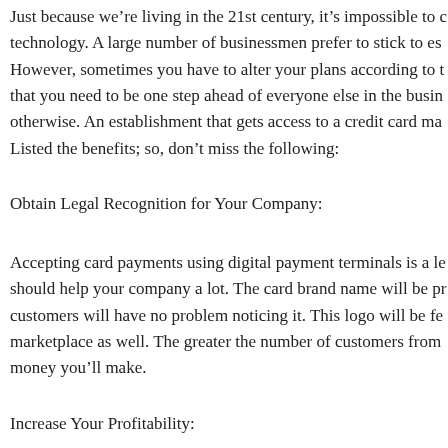Just because we're living in the 21st century, it's impossible to technology. A large number of businessmen prefer to stick to es However, sometimes you have to alter your plans according to t that you need to be one step ahead of everyone else in the busin otherwise. An establishment that gets access to a credit card ma Listed the benefits; so, don't miss the following:
Obtain Legal Recognition for Your Company:
Accepting card payments using digital payment terminals is a le should help your company a lot. The card brand name will be p customers will have no problem noticing it. This logo will be fe marketplace as well. The greater the number of customers from money you'll make.
Increase Your Profitability:
To accept various forms of payment, like credit cards, Google P credit card machine at your business. Creating a positive impres